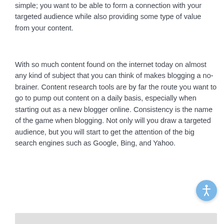simple; you want to be able to form a connection with your targeted audience while also providing some type of value from your content.
With so much content found on the internet today on almost any kind of subject that you can think of makes blogging a no-brainer. Content research tools are by far the route you want to go to pump out content on a daily basis, especially when starting out as a new blogger online. Consistency is the name of the game when blogging. Not only will you draw a targeted audience, but you will start to get the attention of the big search engines such as Google, Bing, and Yahoo.